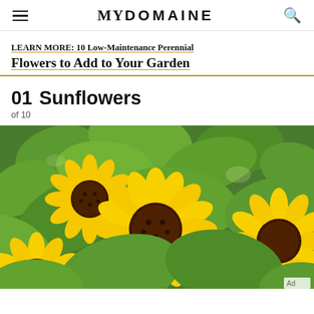MYDOMAINE
LEARN MORE: 10 Low-Maintenance Perennial Flowers to Add to Your Garden
01 Sunflowers
of 10
[Figure (photo): Close-up photograph of sunflowers with large yellow petals and dark brown centers surrounded by broad green leaves in bright sunlight]